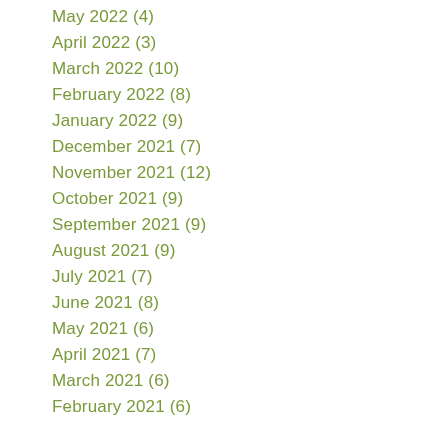May 2022 (4)
April 2022 (3)
March 2022 (10)
February 2022 (8)
January 2022 (9)
December 2021 (7)
November 2021 (12)
October 2021 (9)
September 2021 (9)
August 2021 (9)
July 2021 (7)
June 2021 (8)
May 2021 (6)
April 2021 (7)
March 2021 (6)
February 2021 (6)